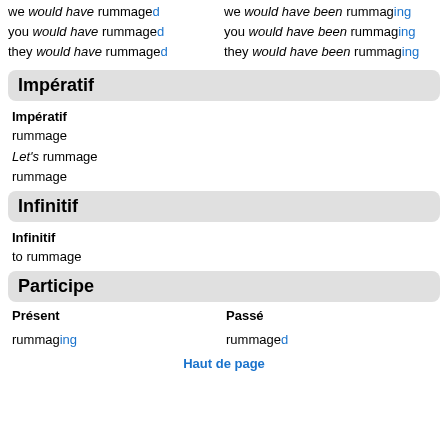we would have rummaged / you would have rummaged / they would have rummaged / we would have been rummaging / you would have been rummaging / they would have been rummaging
Impératif
Impératif
rummage
Let's rummage
rummage
Infinitif
Infinitif
to rummage
Participe
Présent / Passé
rummaging / rummaged
Haut de page